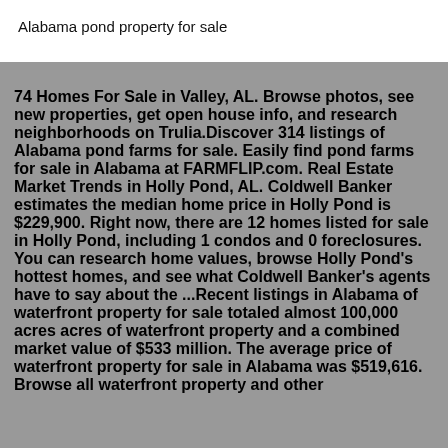Alabama pond property for sale
74 Homes For Sale in Valley, AL. Browse photos, see new properties, get open house info, and research neighborhoods on Trulia.Discover 314 listings of Alabama pond farms for sale. Easily find pond farms for sale in Alabama at FARMFLIP.com. Real Estate Market Trends in Holly Pond, AL. Coldwell Banker estimates the median home price in Holly Pond is $229,900. Right now, there are 12 homes listed for sale in Holly Pond, including 1 condos and 0 foreclosures. You can research home values, browse Holly Pond's hottest homes, and see what Coldwell Banker's agents have to say about the ...Recent listings in Alabama of waterfront property for sale totaled almost 100,000 acres acres of waterfront property and a combined market value of $533 million. The average price of waterfront property for sale in Alabama was $519,616. Browse all waterfront property and other